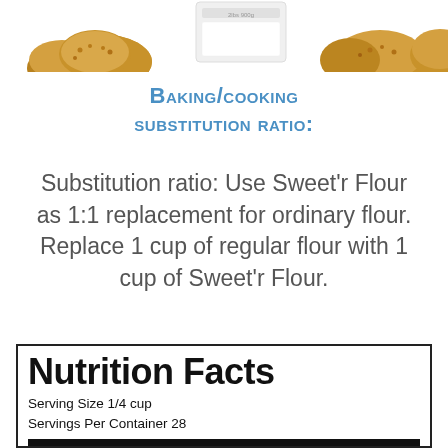[Figure (photo): Bread rolls and baked goods with a white box/container on a white background, cropped at top of page]
Baking/cooking substitution ratio:
Substitution ratio: Use Sweet'r Flour as 1:1 replacement for ordinary flour. Replace 1 cup of regular flour with 1 cup of Sweet'r Flour.
| Nutrition Facts |
| Serving Size 1/4 cup |
| Servings Per Container 28 |